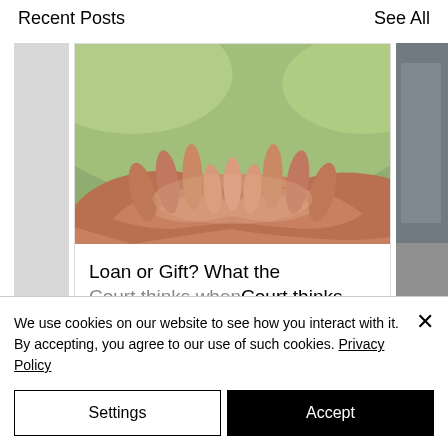Recent Posts
See All
[Figure (photo): Multiple hands of different ages cupped together in a gesture of unity or support, photographed outdoors with a soft green background.]
Loan or Gift? What the Court thinks when
We use cookies on our website to see how you interact with it. By accepting, you agree to our use of such cookies. Privacy Policy
Settings
Accept